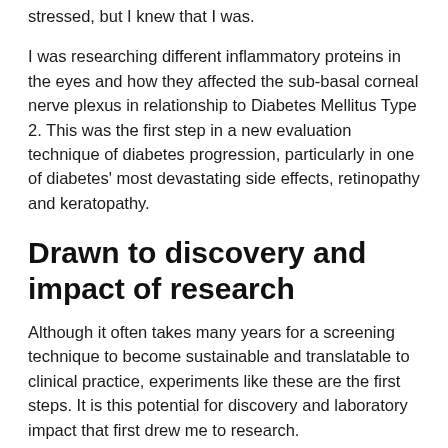stressed, but I knew that I was.
I was researching different inflammatory proteins in the eyes and how they affected the sub-basal corneal nerve plexus in relationship to Diabetes Mellitus Type 2. This was the first step in a new evaluation technique of diabetes progression, particularly in one of diabetes' most devastating side effects, retinopathy and keratopathy.
Drawn to discovery and impact of research
Although it often takes many years for a screening technique to become sustainable and translatable to clinical practice, experiments like these are the first steps. It is this potential for discovery and laboratory impact that first drew me to research.
When I was six years old, I visited my first ophthalmologist because my eye was punctured by a pair of scissors, which nearly left me blind in one eye. At the time, I did not realize "an ophthalmologist" was a type of doctor, but I was thankful to the person who allowed me to keep my sight. For the next few months, I wore an eye patch and pretended I was a pirate. However, I never forgot the fear of losing my vision and since then I have wanted to become a doctor who works